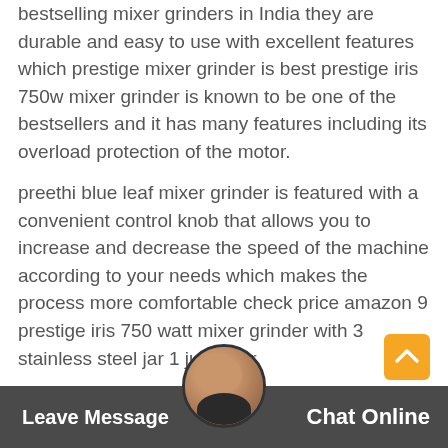bestselling mixer grinders in India they are durable and easy to use with excellent features which prestige mixer grinder is best prestige iris 750w mixer grinder is known to be one of the bestsellers and it has many features including its overload protection of the motor.
preethi blue leaf mixer grinder is featured with a convenient control knob that allows you to increase and decrease the speed of the machine according to your needs which makes the process more comfortable check price amazon 9 prestige iris 750 watt mixer grinder with 3 stainless steel jar 1 juicer jar.
buying guide reviews of 10 best mixer grinder under 4000 1butterfly smart mixer grinder best premium pick 2prestige iris best popular pick 3preethi blue leaf diamond best efficient pi ch true mixx bold best qu ultim Sentin gold 3jr beg money pick 6vidiem mg 576 a best stylish pick
[Figure (other): Chat widget bar at bottom with avatar, Leave Message button on left, Chat Online text on right, orange scroll-to-top button]